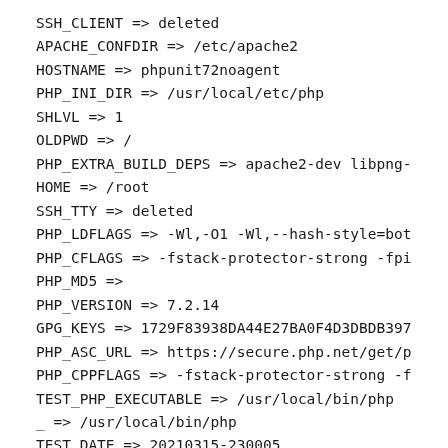SSH_CLIENT => deleted
APACHE_CONFDIR => /etc/apache2
HOSTNAME => phpunit72noagent
PHP_INI_DIR => /usr/local/etc/php
SHLVL => 1
OLDPWD => /
PHP_EXTRA_BUILD_DEPS => apache2-dev libpng-
HOME => /root
SSH_TTY => deleted
PHP_LDFLAGS => -Wl,-O1 -Wl,--hash-style=bot
PHP_CFLAGS => -fstack-protector-strong -fpi
PHP_MD5 =>
PHP_VERSION => 7.2.14
GPG_KEYS => 1729F83938DA44E27BA0F4D3DBDB397
PHP_ASC_URL => https://secure.php.net/get/p
PHP_CPPFLAGS => -fstack-protector-strong -f
TEST_PHP_EXECUTABLE => /usr/local/bin/php
_ => /usr/local/bin/php
TEST_DATE => 20210315-230005